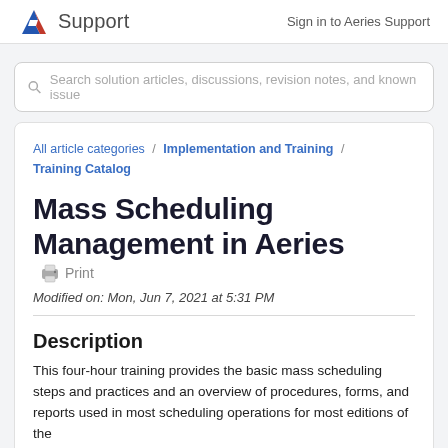Support | Sign in to Aeries Support
Search solution articles, discussions, revision notes, and known issues
All article categories / Implementation and Training / Training Catalog
Mass Scheduling Management in Aeries
Modified on: Mon, Jun 7, 2021 at 5:31 PM
Description
This four-hour training provides the basic mass scheduling steps and practices and an overview of procedures, forms, and reports used in most scheduling operations for most editions of the...